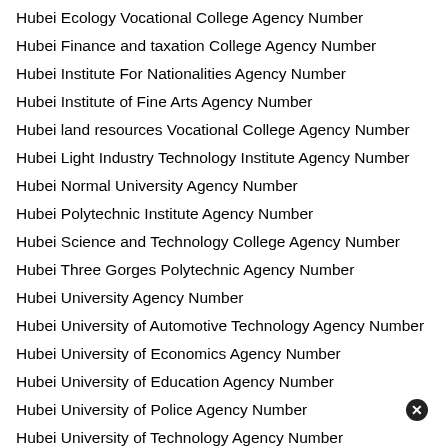Hubei Ecology Vocational College Agency Number
Hubei Finance and taxation College Agency Number
Hubei Institute For Nationalities Agency Number
Hubei Institute of Fine Arts Agency Number
Hubei land resources Vocational College Agency Number
Hubei Light Industry Technology Institute Agency Number
Hubei Normal University Agency Number
Hubei Polytechnic Institute Agency Number
Hubei Science and Technology College Agency Number
Hubei Three Gorges Polytechnic Agency Number
Hubei University Agency Number
Hubei University of Automotive Technology Agency Number
Hubei University of Economics Agency Number
Hubei University of Education Agency Number
Hubei University of Police Agency Number
Hubei University of Technology Agency Number
Hubei Urban Construction Vocational and Technological Colle
Hubei Vocational College of Biotechnology Agency Number